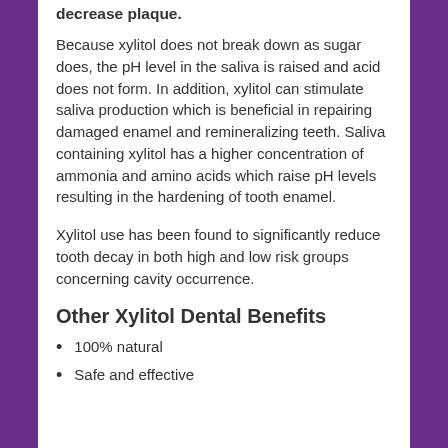decrease plaque.
Because xylitol does not break down as sugar does, the pH level in the saliva is raised and acid does not form. In addition, xylitol can stimulate saliva production which is beneficial in repairing damaged enamel and remineralizing teeth. Saliva containing xylitol has a higher concentration of ammonia and amino acids which raise pH levels resulting in the hardening of tooth enamel.
Xylitol use has been found to significantly reduce tooth decay in both high and low risk groups concerning cavity occurrence.
Other Xylitol Dental Benefits
100% natural
Safe and effective